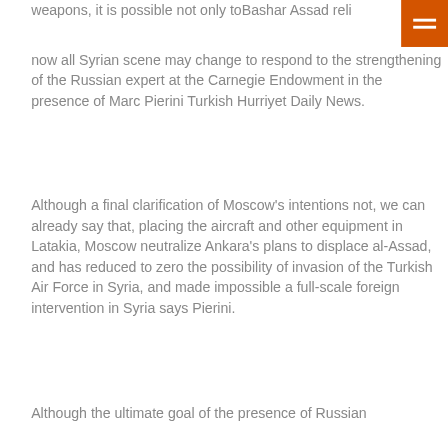weapons, it is possible not only toBashar Assad reli now all Syrian scene may change to respond to the strengthening of the Russian expert at the Carnegie Endowment in the presence of Marc Pierini Turkish Hurriyet Daily News.
[Figure (other): Orange square button with three white horizontal bars (hamburger menu icon) in the top right corner]
Although a final clarification of Moscow's intentions not, we can already say that, placing the aircraft and other equipment in Latakia, Moscow neutralize Ankara's plans to displace al-Assad, and has reduced to zero the possibility of invasion of the Turkish Air Force in Syria, and made impossible a full-scale foreign intervention in Syria says Pierini.
Although the ultimate goal of the presence of Russian